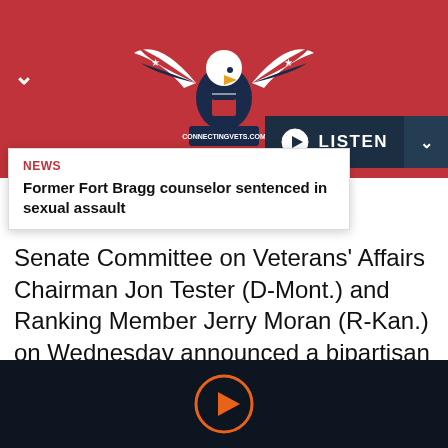[Figure (logo): ConnectingVets.com eagle logo with American flag wings on red banner background]
LISTEN
NEWS
Former Fort Bragg counselor sentenced in sexual assault
Senate Committee on Veterans' Affairs Chairman Jon Tester (D-Mont.) and Ranking Member Jerry Moran (R-Kan.) on Wednesday announced a bipartisan agreement on comprehensive legislation to deliver Department of Veterans Affairs health care and benefits to all generations of toxic-exposed veterans.
[Figure (other): Orange play button circle on dark navy background]